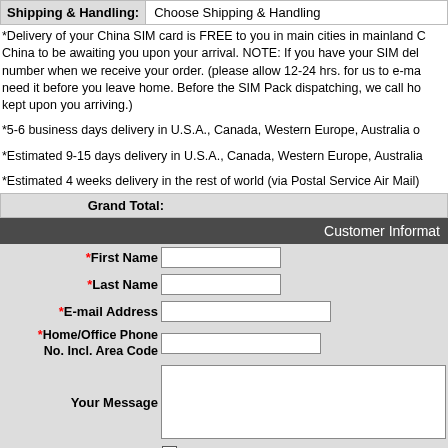Shipping & Handling: Choose Shipping & Handling
*Delivery of your China SIM card is FREE to you in main cities in mainland China to be awaiting you upon your arrival. NOTE: If you have your SIM delivery number when we receive your order. (please allow 12-24 hrs. for us to e-mail need it before you leave home. Before the SIM Pack dispatching, we call home kept upon you arriving.)
*5-6 business days delivery in U.S.A., Canada, Western Europe, Australia o
*Estimated 9-15 days delivery in U.S.A., Canada, Western Europe, Australia
*Estimated 4 weeks delivery in the rest of world (via Postal Service Air Mail)
Grand Total:
Customer Information
*First Name
*Last Name
*E-mail Address
*Home/Office Phone No. Incl. Area Code
Your Message
Pay by Paypal
I declare that I am the credit card or Paypal account holder and that I am a